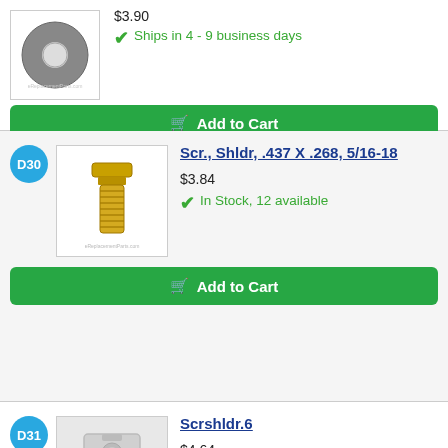$3.90
[Figure (photo): Washer/flat ring hardware part]
Ships in 4 - 9 business days
Add to Cart
D30
[Figure (photo): Shoulder screw bolt, gold/brass colored]
Scr., Shldr, .437 X .268, 5/16-18
$3.84
In Stock, 12 available
Add to Cart
D31
[Figure (photo): Photo Not Available placeholder image]
Scrshldr.6
$4.64
In Stock, 5 available